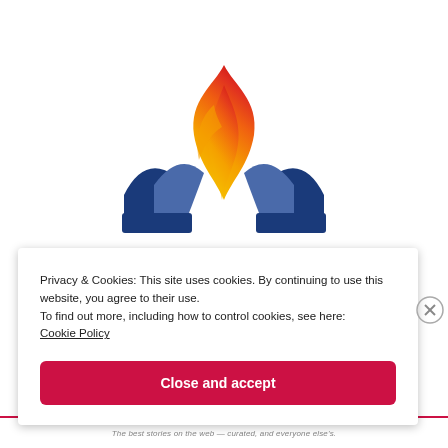[Figure (logo): Flame logo with blue V-shaped wings and an orange-red flame above, resembling the Vivaldi or similar browser/media brand logo]
Privacy & Cookies: This site uses cookies. By continuing to use this website, you agree to their use.
To find out more, including how to control cookies, see here:
Cookie Policy
Close and accept